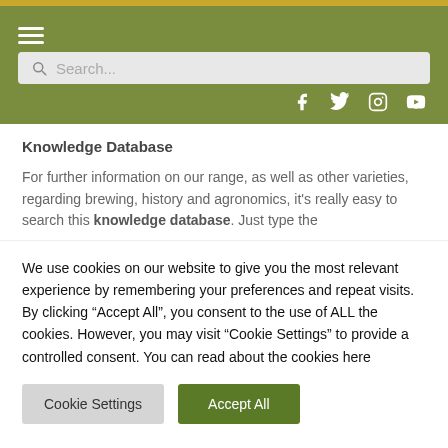[Figure (screenshot): Website header with hamburger menu icon, search bar, and social media icons (Facebook, Twitter, Instagram, YouTube) on olive/green background]
Knowledge Database
For further information on our range, as well as other varieties, regarding brewing, history and agronomics, it's really easy to search this knowledge database. Just type the
We use cookies on our website to give you the most relevant experience by remembering your preferences and repeat visits. By clicking “Accept All”, you consent to the use of ALL the cookies. However, you may visit “Cookie Settings” to provide a controlled consent. You can read about the cookies here
Cookie Settings | Accept All